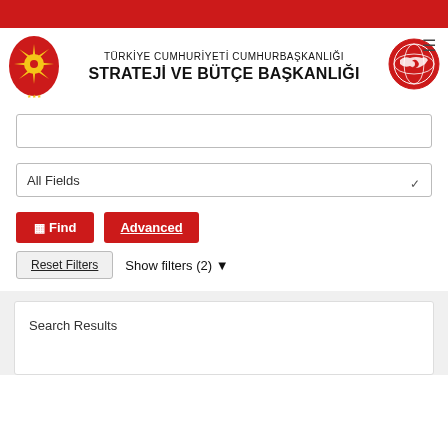[Figure (logo): Turkish Presidential seal logo (left) and Strateji ve Bütçe Başkanlığı logo (right) with header text: TÜRKİYE CUMHURİYETİ CUMHURBAŞKANLIĞI STRATEJİ VE BÜTÇE BAŞKANLIĞI]
TÜRKİYE CUMHURİYETİ CUMHURBAŞKANLIĞI
STRATEJİ VE BÜTÇE BAŞKANLIĞI
All Fields
fl Find   Advanced
Reset Filters   Show filters (2) ▼
Search Results